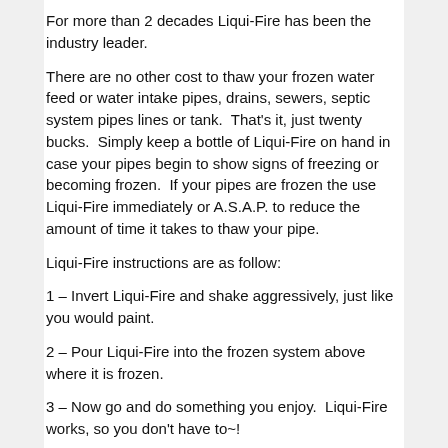For more than 2 decades Liqui-Fire has been the industry leader.
There are no other cost to thaw your frozen water feed or water intake pipes, drains, sewers, septic system pipes lines or tank.  That's it, just twenty bucks.  Simply keep a bottle of Liqui-Fire on hand in case your pipes begin to show signs of freezing or becoming frozen.  If your pipes are frozen the use Liqui-Fire immediately or A.S.A.P. to reduce the amount of time it takes to thaw your pipe.
Liqui-Fire instructions are as follow:
1 – Invert Liqui-Fire and shake aggressively, just like you would paint.
2 – Pour Liqui-Fire into the frozen system above where it is frozen.
3 – Now go and do something you enjoy.  Liqui-Fire works, so you don't have to~!